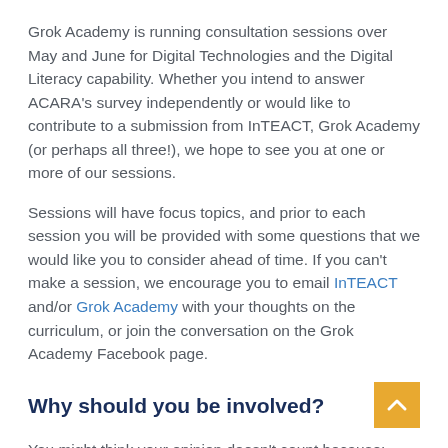Grok Academy is running consultation sessions over May and June for Digital Technologies and the Digital Literacy capability. Whether you intend to answer ACARA's survey independently or would like to contribute to a submission from InTEACT, Grok Academy (or perhaps all three!), we hope to see you at one or more of our sessions.
Sessions will have focus topics, and prior to each session you will be provided with some questions that we would like you to consider ahead of time. If you can't make a session, we encourage you to email InTEACT and/or Grok Academy with your thoughts on the curriculum, or join the conversation on the Grok Academy Facebook page.
Why should you be involved?
You might think your opinion doesn't count because: